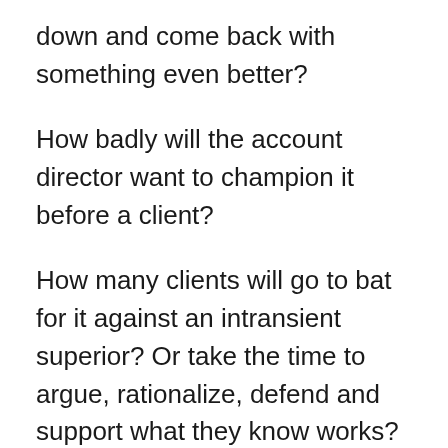down and come back with something even better?
How badly will the account director want to champion it before a client?
How many clients will go to bat for it against an intransient superior? Or take the time to argue, rationalize, defend and support what they know works?
Simply put, how many will support the right way when the path of least resistance gets a quick result and a chance to beat the 5:00